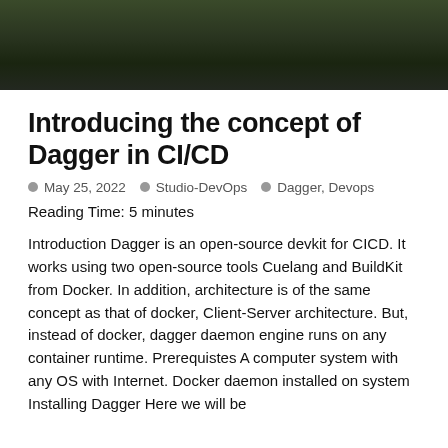[Figure (photo): Dark green/olive toned hero image, partially visible at top of page, appears to show an organic or plant-related subject against a dark background]
Introducing the concept of Dagger in CI/CD
May 25, 2022   Studio-DevOps   Dagger, Devops
Reading Time: 5 minutes
Introduction Dagger is an open-source devkit for CICD. It works using two open-source tools Cuelang and BuildKit from Docker. In addition, architecture is of the same concept as that of docker, Client-Server architecture. But, instead of docker, dagger daemon engine runs on any container runtime. Prerequistes A computer system with any OS with Internet. Docker daemon installed on system Installing Dagger Here we will be